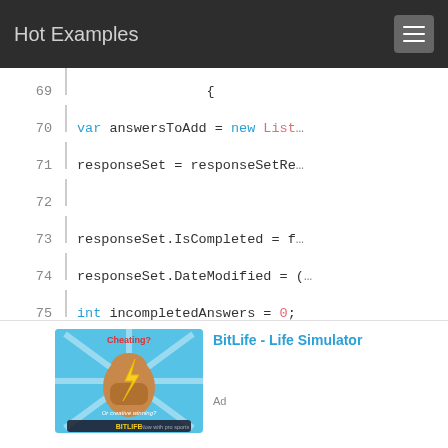Hot Examples
[Figure (screenshot): Code viewer screenshot showing C# code lines 69-83 with syntax highlighting. Keywords 'var', 'int', 'foreach' in blue; 'new List', type names in red/pink; identifiers in dark/black. Lines shown: 69 '{', 70 'var answersToAdd = new List', 71 'responseSet = responseSetRe', 72 (empty), 73 'responseSet.IsCompleted = f.', 74 'responseSet.DateModified = (', 75 'int incompletedAnswers = 0;', 76 'int disabledQuestions = 0;', 77 (empty), 78 'foreach (var category in ca', 79 'foreach (var question i', 80 '{', 81 (empty), 82 'var answer = respon', 83 (partial)]
[Figure (photo): BitLife - Life Simulator advertisement image showing a cartoon muscular arm with a lightning bolt, text 'Cheating? Or creative winning?' and BitLife logo on blue background]
BitLife - Life Simulator
Ad